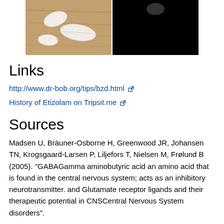[Figure (photo): Two side-by-side photos: left shows white oval pills on a wooden surface, right shows a dark/black background with a faint round object.]
Links
http://www.dr-bob.org/tips/bzd.html [external link]
History of Etizolam on Tripsit.me [external link]
Sources
Madsen U, Bräuner-Osborne H, Greenwood JR, Johansen TN, Krogsgaard-Larsen P, Liljefors T, Nielsen M, Frølund B (2005). "GABAGamma aminobutyric acid an amino acid that is found in the central nervous system; acts as an inhibitory neurotransmitter. and Glutamate receptor ligands and their therapeutic potential in CNSCentral Nervous System disorders".